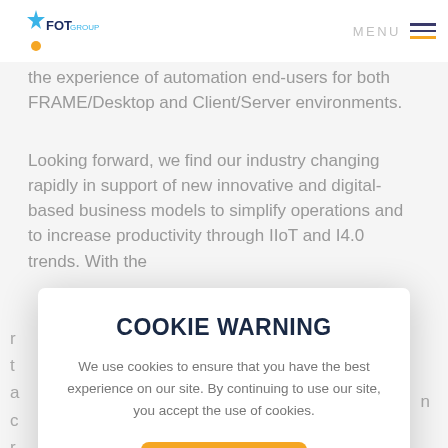FOT GROUP | MENU
the experience of automation end-users for both FRAME/Desktop and Client/Server environments.
Looking forward, we find our industry changing rapidly in support of new innovative and digital-based business models to simplify operations and to increase productivity through IIoT and I4.0 trends. With the
COOKIE WARNING
We use cookies to ensure that you have the best experience on our site. By continuing to use our site, you accept the use of cookies.
Accept ✓